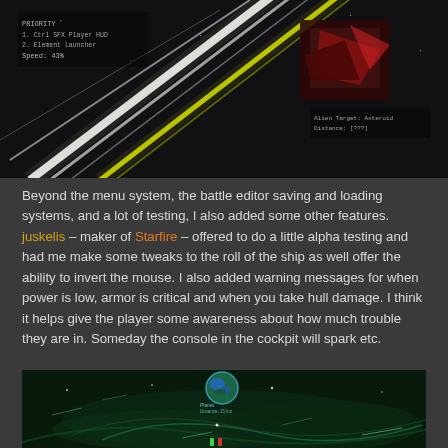[Figure (screenshot): Dark space combat game screenshot showing a spacecraft with bright white/yellow light streaks against a black starfield, with a red and gray object in the upper right and HUD elements showing speed and other stats in the upper left.]
Beyond the menu system, the battle editor saving and loading systems, and a lot of testing, I also added some other features. juskelis – maker of Starfire – offered to do a little alpha testing and had me make some tweaks to the roll of the ship as well offer the ability to invert the mouse. I also added warning messages for when power is low, armor is critical and when you take hull damage. I think it helps give the player some awareness about how much trouble they are in. Someday the console in the cockpit will spark etc.
[Figure (screenshot): Dark space game screenshot showing a top-down view with a teal/dark green nebula background, small glowing particles and streaks, a blue-green planet/globe in the upper center area, and small colored ship indicators near the bottom center.]